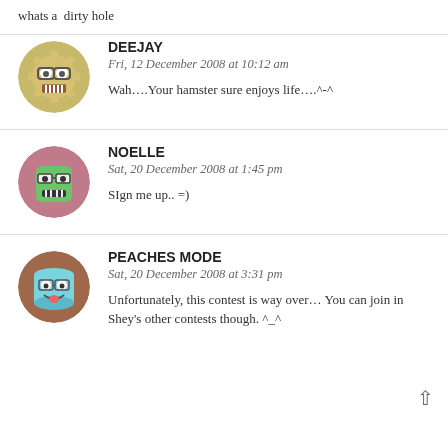whats a  dirty hole
DEEJAY
Fri, 12 December 2008 at 10:12 am
Wah….Your hamster sure enjoys life….^-^
NOELLE
Sat, 20 December 2008 at 1:45 pm
SIgn me up.. =)
PEACHES MODE
Sat, 20 December 2008 at 3:31 pm
Unfortunately, this contest is way over… You can join in Shey's other contests though. ^_^